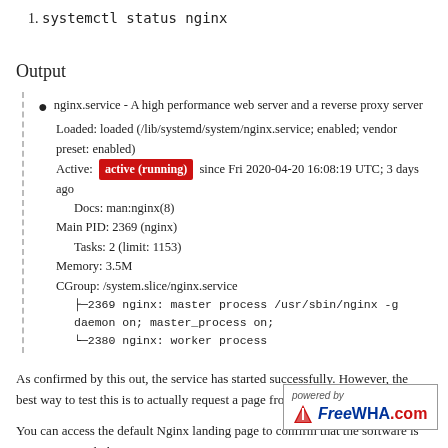1. systemctl status nginx
Output
nginx.service - A high performance web server and a reverse proxy server
Loaded: loaded (/lib/systemd/system/nginx.service; enabled; vendor preset: enabled)
Active: active (running) since Fri 2020-04-20 16:08:19 UTC; 3 days ago
  Docs: man:nginx(8)
Main PID: 2369 (nginx)
  Tasks: 2 (limit: 1153)
  Memory: 3.5M
  CGroup: /system.slice/nginx.service
    ├─2369 nginx: master process /usr/sbin/nginx -g daemon on; master_process on;
    └─2380 nginx: worker process
As confirmed by this out, the service has started successfully. However, the best way to test this is to actually request a page from Nginx.
You can access the default Nginx landing page to confirm that the software is running properly by navigating to
you do not know your server's IP address, you can find it by using